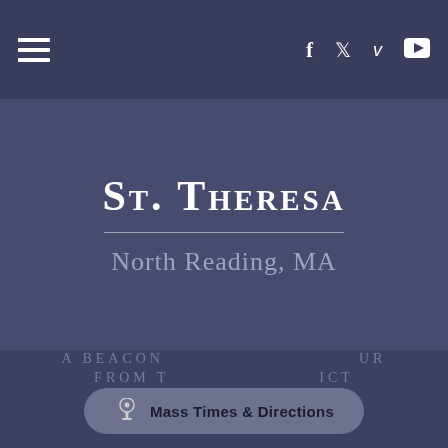Navigation bar with hamburger menu and social icons: f, twitter, v, youtube
St. Theresa
North Reading, MA
A BEACON... FROM THE DIOCESE OF BENEDICT
[Figure (other): Mass Times & Directions button overlay with chalice icon]